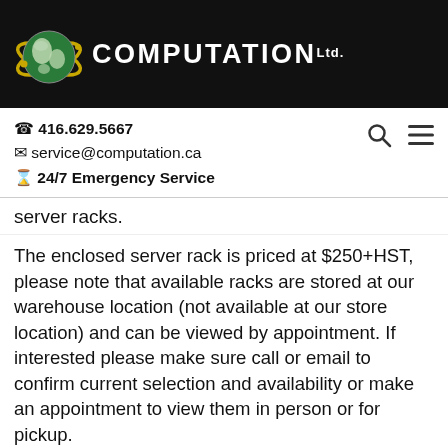COMPUTATION Ltd.
☎ 416.629.5667
✉ service@computation.ca
⏰ 24/7 Emergency Service
server racks.
The enclosed server rack is priced at $250+HST, please note that available racks are stored at our warehouse location (not available at our store location) and can be viewed by appointment. If interested please make sure call or email to confirm current selection and availability or make an appointment to view them in person or for pickup.
If you have any further questions please email for fastest response, or call our store at 416.913.3443 . Please note that this is a landline and that text messages will not come through on this number. Due